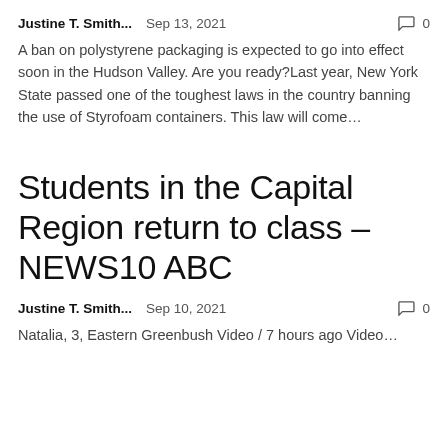Justine T. Smith...   Sep 13, 2021   🗨 0
A ban on polystyrene packaging is expected to go into effect soon in the Hudson Valley. Are you ready?Last year, New York State passed one of the toughest laws in the country banning the use of Styrofoam containers. This law will come...
Students in the Capital Region return to class – NEWS10 ABC
Justine T. Smith...   Sep 10, 2021   🗨 0
Natalia, 3, Eastern Greenbush Video / 7 hours ago Video...